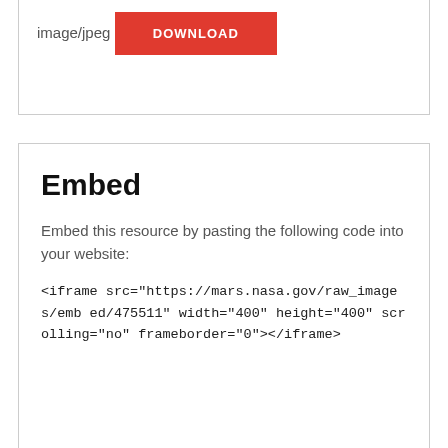image/jpeg
DOWNLOAD
Embed
Embed this resource by pasting the following code into your website:
<iframe src="https://mars.nasa.gov/raw_images/embed/475511" width="400" height="400" scrolling="no" frameborder="0"></iframe>